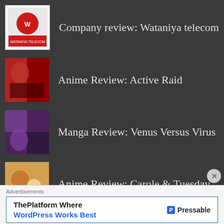Company review: Wataniya telecom
Anime Review: Active Raid
Manga Review: Venus Versus Virus
Anime Review: Carole & Tuesday
Manga Review: Shinigami Alice
Movie Review: Detective Conan 22: Zero The Enforcer
Advertisements
ThePlatform Where WordPress Works Best
Pressable